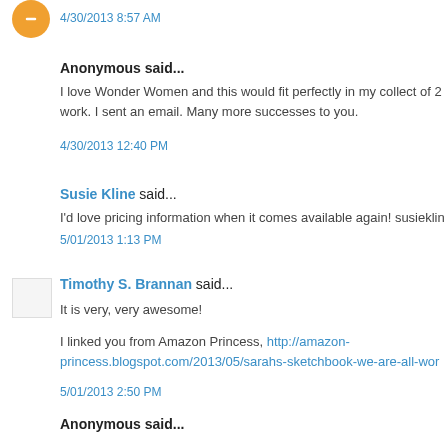4/30/2013 8:57 AM
Anonymous said...
I love Wonder Women and this would fit perfectly in my collect of 2 work. I sent an email. Many more successes to you.
4/30/2013 12:40 PM
Susie Kline said...
I'd love pricing information when it comes available again! susiekli...
5/01/2013 1:13 PM
Timothy S. Brannan said...
It is very, very awesome!
I linked you from Amazon Princess, http://amazon-princess.blogspot.com/2013/05/sarahs-sketchbook-we-are-all-wor
5/01/2013 2:50 PM
Anonymous said...